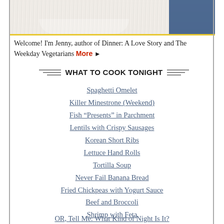[Figure (photo): Top portion of a photo showing a person in a white knit/textured sweater with a blue element on the right side, cropped at the bottom with a yellow border strip]
Welcome! I'm Jenny, author of Dinner: A Love Story and The Weekday Vegetarians More ▶
WHAT TO COOK TONIGHT
Spaghetti Omelet
Killer Minestrone (Weekend)
Fish “Presents” in Parchment
Lentils with Crispy Sausages
Korean Short Ribs
Lettuce Hand Rolls
Tortilla Soup
Never Fail Banana Bread
Fried Chickpeas with Yogurt Sauce
Beef and Broccoli
Shrimp with Feta
Pork Chops with Cider, Dill, Horseradish
OR, Tell Me: What Kind of Night Is It?